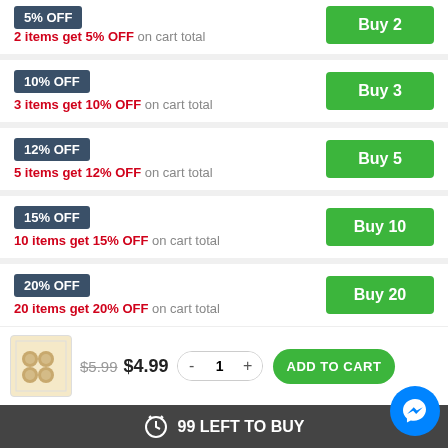5% OFF — 2 items get 5% OFF on cart total — Buy 2
10% OFF — 3 items get 10% OFF on cart total — Buy 3
12% OFF — 5 items get 12% OFF on cart total — Buy 5
15% OFF — 10 items get 15% OFF on cart total — Buy 10
20% OFF — 20 items get 20% OFF on cart total — Buy 20
$5.99 $4.99 - 1 + ADD TO CART
99 LEFT TO BUY
Other people want this. There are 95 people are viewing this.
30 items get 30% OFF